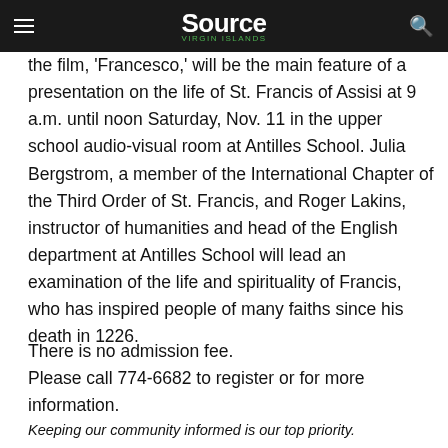The Source | Virgin Islands
the film, 'Francesco,' will be the main feature of a presentation on the life of St. Francis of Assisi at 9 a.m. until noon Saturday, Nov. 11 in the upper school audio-visual room at Antilles School. Julia Bergstrom, a member of the International Chapter of the Third Order of St. Francis, and Roger Lakins, instructor of humanities and head of the English department at Antilles School will lead an examination of the life and spirituality of Francis, who has inspired people of many faiths since his death in 1226.
There is no admission fee.
Please call 774-6682 to register or for more information.
[Figure (other): Green Print / PDF button]
Keeping our community informed is our top priority.